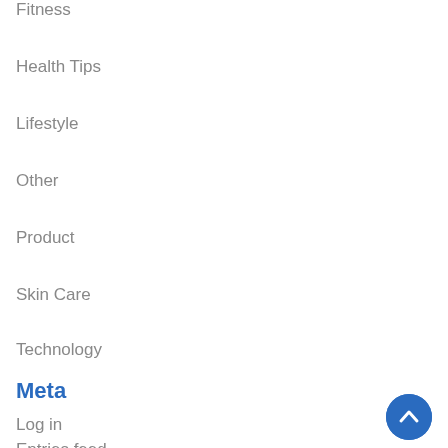Fitness
Health Tips
Lifestyle
Other
Product
Skin Care
Technology
Meta
Log in
Entries feed